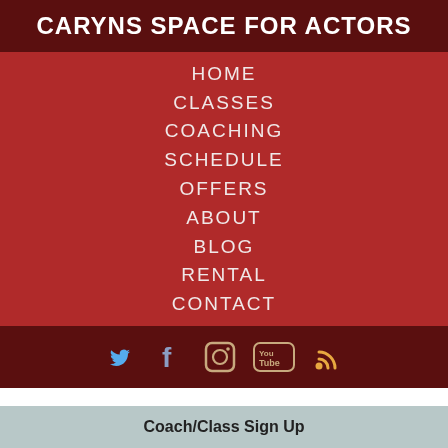CARYNS SPACE FOR ACTORS
HOME
CLASSES
COACHING
SCHEDULE
OFFERS
ABOUT
BLOG
RENTAL
CONTACT
[Figure (infographic): Social media icons: Twitter (blue bird), Facebook (f), Instagram (camera), YouTube, RSS feed]
Coach/Class Sign Up